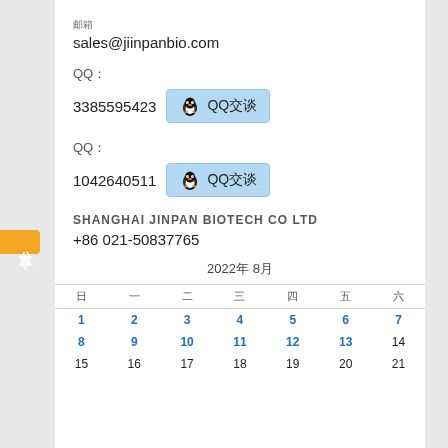邮箱
sales@jiinpanbio.com
QQ：
3385595423  QQ交谈
QQ：
1042640511  QQ交谈
SHANGHAI JINPAN BIOTECH CO LTD
+86 021-50837765
| 日 | 一 | 二 | 三 | 四 | 五 | 六 |
| --- | --- | --- | --- | --- | --- | --- |
| 1 | 2 | 3 | 4 | 5 | 6 | 7 |
| 8 | 9 | 10 | 11 | 12 | 13 | 14 |
| 15 | 16 | 17 | 18 | 19 | 20 | 21 |